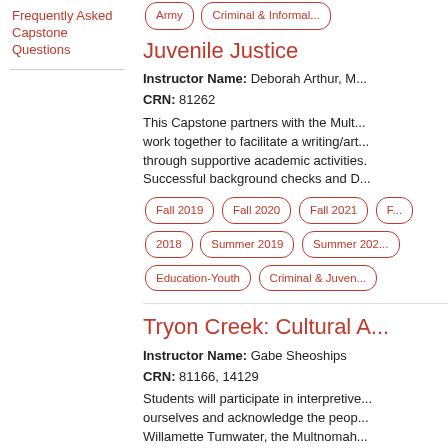Frequently Asked Capstone Questions
Juvenile Justice
Instructor Name: Deborah Arthur, M...
CRN: 81262
This Capstone partners with the Mult... work together to facilitate a writing/art... through supportive academic activities. Successful background checks and D...
Fall 2019
Fall 2020
Fall 2021
2018
Summer 2019
Summer 202...
Education-Youth
Criminal & Juven...
Tryon Creek: Cultural A...
Instructor Name: Gabe Sheoships
CRN: 81166, 14129
Students will participate in interpretive... ourselves and acknowledge the peop... Willamette Tumwater, the Multnomah... and other tribes and bands of the Co... the...